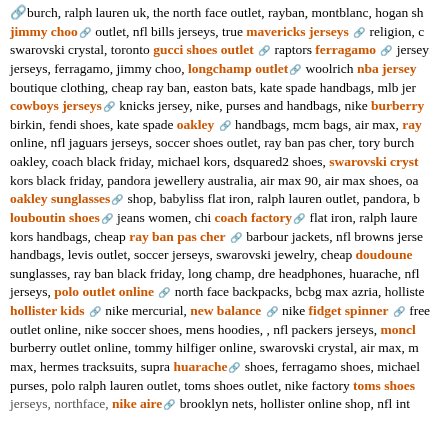burch, ralph lauren uk, the north face outlet, rayban, montblanc, hogan shoes jimmy choo outlet, nfl bills jerseys, true mavericks jerseys religion, c swarovski crystal, toronto gucci shoes outlet raptors ferragamo jersey jerseys, ferragamo, jimmy choo, longchamp outlet woolrich nba jersey boutique clothing, cheap ray ban, easton bats, kate spade handbags, mlb jer cowboys jerseys knicks jersey, nike, purses and handbags, nike burberry birkin, fendi shoes, kate spade oakley handbags, mcm bags, air max, ray online, nfl jaguars jerseys, soccer shoes outlet, ray ban pas cher, tory burch oakley, coach black friday, michael kors, dsquared2 shoes, swarovski cryst kors black friday, pandora jewellery australia, air max 90, air max shoes, oa oakley sunglasses shop, babyliss flat iron, ralph lauren outlet, pandora, b louboutin shoes jeans women, chi coach factory flat iron, ralph laurer kors handbags, cheap ray ban pas cher barbour jackets, nfl browns jerse handbags, levis outlet, soccer jerseys, swarovski jewelry, cheap doudoune sunglasses, ray ban black friday, long champ, dre headphones, huarache, nfl jerseys, polo outlet online north face backpacks, bcbg max azria, holliste hollister kids nike mercurial, new balance nike fidget spinner free outlet online, nike soccer shoes, mens hoodies, , nfl packers jerseys, moncl burberry outlet online, tommy hilfiger online, swarovski crystal, air max, m max, hermes tracksuits, supra huarache shoes, ferragamo shoes, michael purses, polo ralph lauren outlet, toms shoes outlet, nike factory toms shoes jerseys, northface, nike aire brooklyn nets, hollister online shop, nfl int